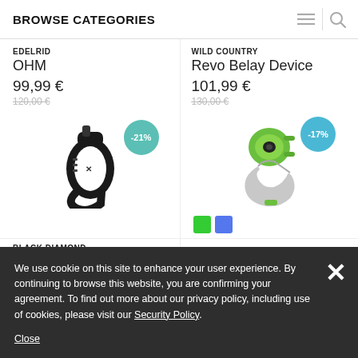BROWSE CATEGORIES
EDELRID
OHM
99,99 €
120,00 €
[Figure (photo): Black climbing belay device (Edelrid OHM) with -21% discount badge in teal]
WILD COUNTRY
Revo Belay Device
101,99 €
130,00 €
[Figure (photo): Green climbing belay device (Wild Country Revo Belay Device) with -17% discount badge in blue, with green and blue color swatches below]
BLACK DIAMOND
ATC-Pilot
CLIMBING TECHNOLOGY
We use cookie on this site to enhance your user experience. By continuing to browse this website, you are confirming your agreement. To find out more about our privacy policy, including use of cookies, please visit our Security Policy.

Close